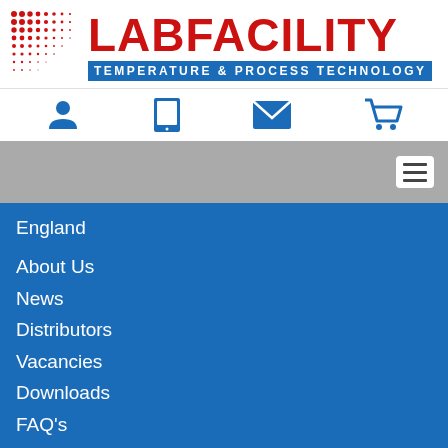[Figure (logo): Labfacility logo with red dot-grid pattern, red LABFACILITY text, and blue TEMPERATURE & PROCESS TECHNOLOGY bar]
[Figure (screenshot): Navigation icon bar with person/account icon, tablet/catalogue icon, envelope/contact icon, and shopping cart icon in blue]
[Figure (screenshot): Gray navigation bar with hamburger menu button on right]
England
About Us
News
Distributors
Vacancies
Downloads
FAQ's
UK Temperature Sensor Manufacturer